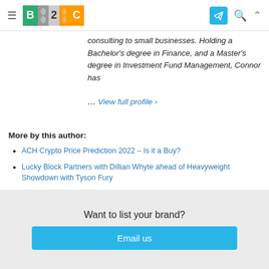B2C (logo) navigation bar
consulting to small businesses. Holding a Bachelor's degree in Finance, and a Master's degree in Investment Fund Management, Connor has
… View full profile ›
More by this author:
ACH Crypto Price Prediction 2022 – Is it a Buy?
Lucky Block Partners with Dillian Whyte ahead of Heavyweight Showdown with Tyson Fury
NFT Pixel Art – The Best NFT Collections for 2022
Want to list your brand?
Email us